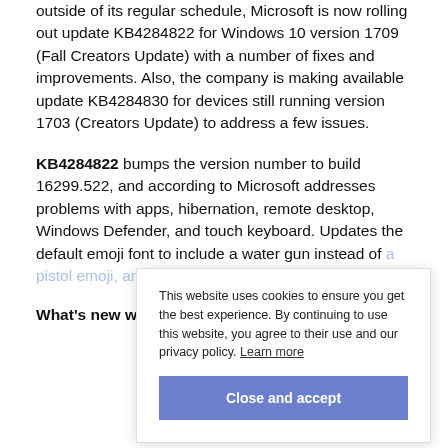outside of its regular schedule, Microsoft is now rolling out update KB4284822 for Windows 10 version 1709 (Fall Creators Update) with a number of fixes and improvements. Also, the company is making available update KB4284830 for devices still running version 1703 (Creators Update) to address a few issues.
KB4284822 bumps the version number to build 16299.522, and according to Microsoft addresses problems with apps, hibernation, remote desktop, Windows Defender, and touch keyboard. Updates the default emoji font to include a water gun instead of a pistol emoji, and much more.
What's new with Windows 10 build 16299.522
This website uses cookies to ensure you get the best experience. By continuing to use this website, you agree to their use and our privacy policy. Learn more